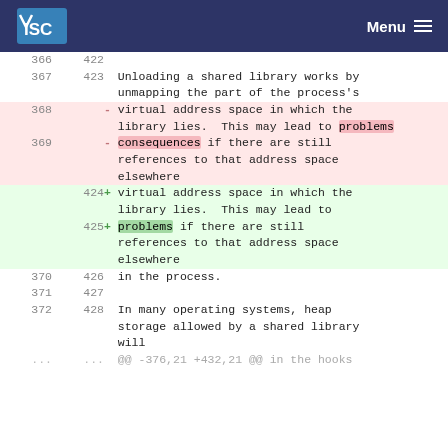ISC Menu
| old | new | code |
| --- | --- | --- |
| 366 | 422 |  |
| 367 | 423 | Unloading a shared library works by unmapping the part of the process's |
| 368 |  | - virtual address space in which the library lies.  This may lead to problems |
| 369 |  | - consequences if there are still references to that address space elsewhere |
|  | 424 | + virtual address space in which the library lies.  This may lead to |
|  | 425 | + problems if there are still references to that address space elsewhere |
| 370 | 426 | in the process. |
| 371 | 427 |  |
| 372 | 428 | In many operating systems, heap storage allowed by a shared library will |
| ... | ... | @@ -376,21 +432,21 @@ in the hooks |